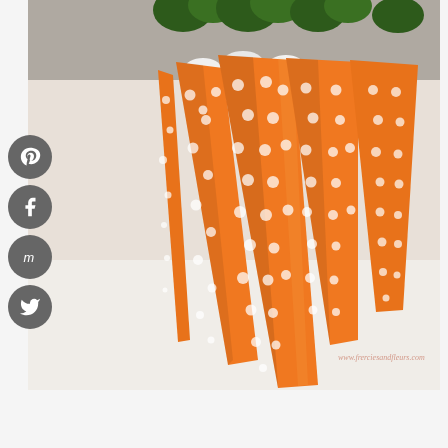[Figure (photo): Several orange polka-dot fabric carrot decorations with green felt tops, arranged in a fan-like grouping on a white surface. The carrots are cone-shaped, made from orange fabric with white polka dots, and have green felt leaves at the top tied with white ribbon. Watermark reads www.frerciesandfleurs.com.]
[Figure (infographic): Social media share buttons on the left side: Pinterest (P icon), Facebook (f icon), Mix/Mixi (m icon), Twitter (bird icon) — all circular dark gray buttons.]